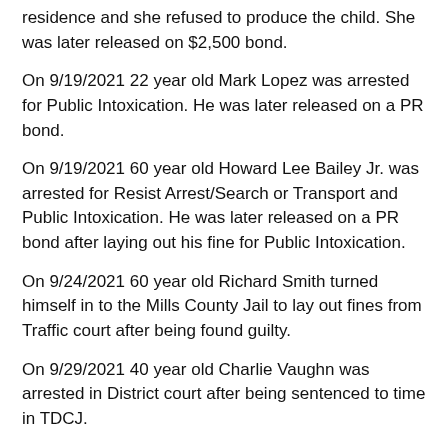residence and she refused to produce the child. She was later released on $2,500 bond.
On 9/19/2021 22 year old Mark Lopez was arrested for Public Intoxication. He was later released on a PR bond.
On 9/19/2021 60 year old Howard Lee Bailey Jr. was arrested for Resist Arrest/Search or Transport and Public Intoxication. He was later released on a PR bond after laying out his fine for Public Intoxication.
On 9/24/2021 60 year old Richard Smith turned himself in to the Mills County Jail to lay out fines from Traffic court after being found guilty.
On 9/29/2021 40 year old Charlie Vaughn was arrested in District court after being sentenced to time in TDCJ.
On 9/29/2021 31 year old Colton Benningfield was arrested in District Court after being sentenced to serve time in TDCJ.